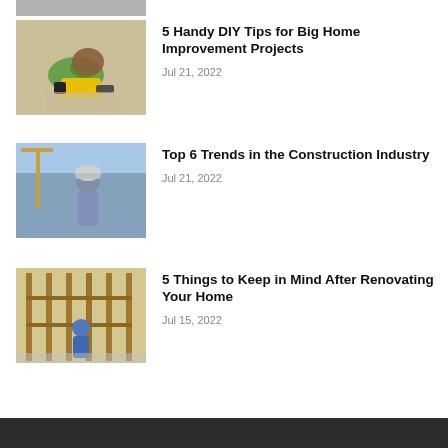[Figure (photo): Partial top strip of an article thumbnail photo, cropped at top]
[Figure (photo): Person using a power drill on wood flooring, wearing green gloves and a yellow drill]
5 Handy DIY Tips for Big Home Improvement Projects
Jul 21, 2022
[Figure (photo): Construction worker in hard hat looking at a construction site with cranes]
Top 6 Trends in the Construction Industry
Jul 21, 2022
[Figure (photo): Person doing home renovation work inside a wooden frame structure]
5 Things to Keep in Mind After Renovating Your Home
Jul 15, 2022